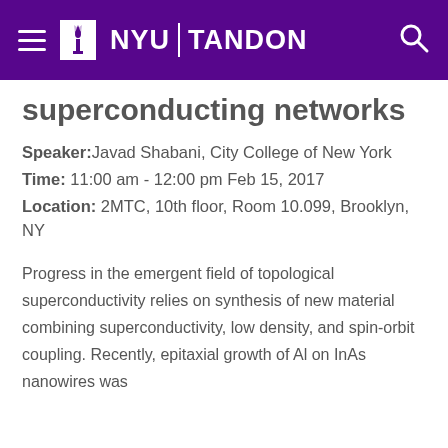NYU TANDON
superconducting networks
Speaker: Javad Shabani, City College of New York
Time: 11:00 am - 12:00 pm Feb 15, 2017
Location: 2MTC, 10th floor, Room 10.099, Brooklyn, NY
Progress in the emergent field of topological superconductivity relies on synthesis of new material combining superconductivity, low density, and spin-orbit coupling. Recently, epitaxial growth of Al on InAs nanowires was